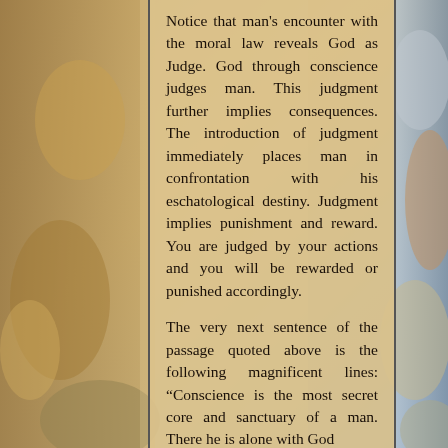[Figure (illustration): Baroque-style religious fresco painting showing figures including angels, cherubs, and people with fruits and flowers, in warm golden and blue tones, visible on the left and right sides behind the text panel.]
Notice that man's encounter with the moral law reveals God as Judge. God through conscience judges man. This judgment further implies consequences. The introduction of judgment immediately places man in confrontation with his eschatological destiny. Judgment implies punishment and reward. You are judged by your actions and you will be rewarded or punished accordingly.
The very next sentence of the passage quoted above is the following magnificent lines: “Conscience is the most secret core and sanctuary of a man. There he is alone with God